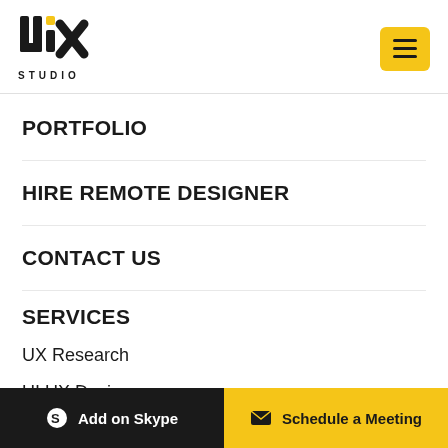[Figure (logo): UIX Studio logo with stylized letters and STUDIO text below]
PORTFOLIO
HIRE REMOTE DESIGNER
CONTACT US
SERVICES
UX Research
UI UX Design
Add on Skype   Schedule a Meeting